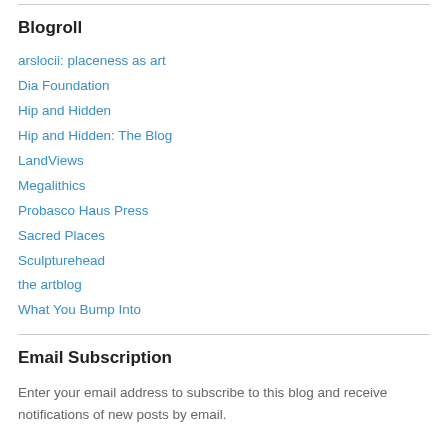Blogroll
arslocii: placeness as art
Dia Foundation
Hip and Hidden
Hip and Hidden: The Blog
LandViews
Megalithics
Probasco Haus Press
Sacred Places
Sculpturehead
the artblog
What You Bump Into
Email Subscription
Enter your email address to subscribe to this blog and receive notifications of new posts by email.